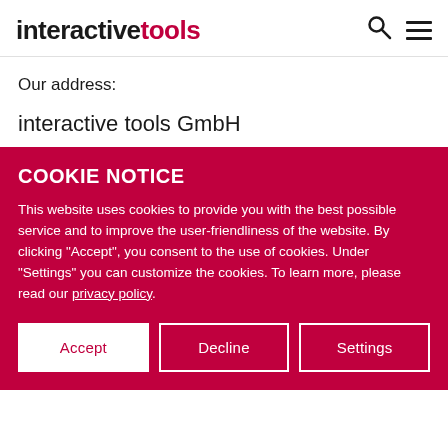interactivetools
Our address:
interactive tools GmbH
COOKIE NOTICE
This website uses cookies to provide you with the best possible service and to improve the user-friendliness of the website. By clicking "Accept", you consent to the use of cookies. Under "Settings" you can customize the cookies. To learn more, please read our privacy policy.
Accept
Decline
Settings